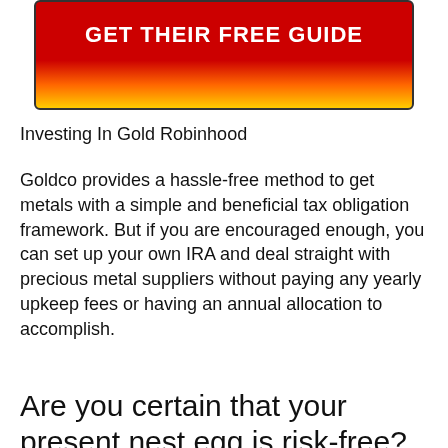[Figure (other): Red to yellow gradient button with white bold text reading GET THEIR FREE GUIDE]
Investing In Gold Robinhood
Goldco provides a hassle-free method to get metals with a simple and beneficial tax obligation framework. But if you are encouraged enough, you can set up your own IRA and deal straight with precious metal suppliers without paying any yearly upkeep fees or having an annual allocation to accomplish.
Are you certain that your present nest egg is risk-free?